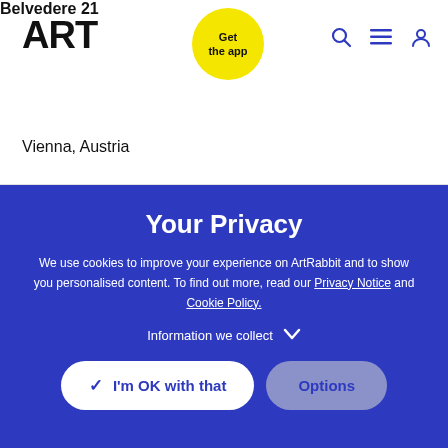ART
[Figure (other): Yellow circular badge with text 'Get the app']
Belvedere 21
Vienna, Austria
Your Privacy
We use cookies to improve your experience on ArtRabbit and to show you personalised content. To find out more, read our Privacy Notice and Cookie Policy.
Information we collect
I'm OK with that
Options